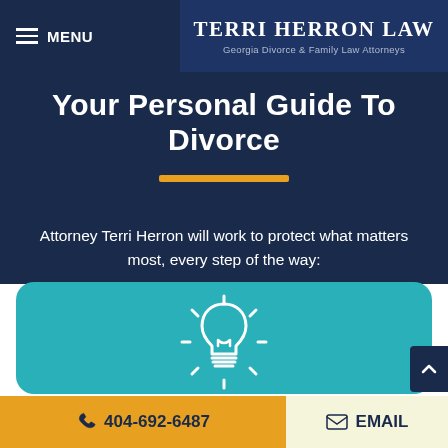MENU | TERRI HERRON LAW — Georgia Divorce & Family Law Attorneys
Your Personal Guide To Divorce
Attorney Terri Herron will work to protect what matters most, every step of the way:
[Figure (illustration): White outline light bulb icon with rays, on teal background — symbolizing answers and knowledge]
GET ANSWERS TO YOUR QUESTIONS
Knowledge is power when approaching a divorce
📞 404-692-6487  ✉ EMAIL